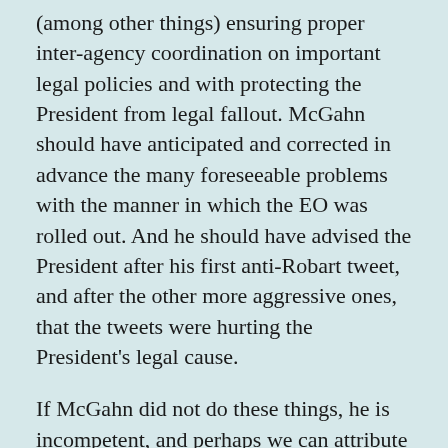(among other things) ensuring proper inter-agency coordination on important legal policies and with protecting the President from legal fallout. McGahn should have anticipated and corrected in advance the many foreseeable problems with the manner in which the EO was rolled out. And he should have advised the President after his first anti-Robart tweet, and after the other more aggressive ones, that the tweets were hurting the President's legal cause.
If McGahn did not do these things, he is incompetent, and perhaps we can attribute impulsive incompetence to the President. But if McGahn did do these things—if he tried to put the brakes on the EO, and if he warned his client about the adverse impact of his tweets—then he has shockingly little influence with the President and within the White House (i.e. he is